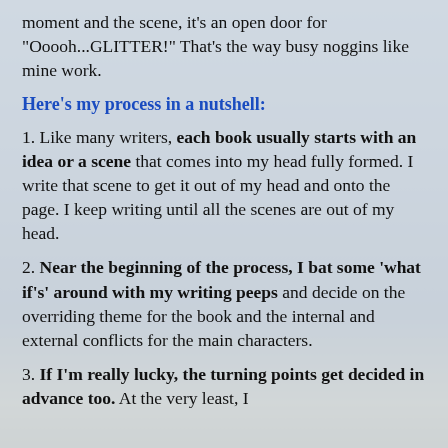moment and the scene, it's an open door for "Ooooh...GLITTER!" That's the way busy noggins like mine work.
Here's my process in a nutshell:
1. Like many writers, each book usually starts with an idea or a scene that comes into my head fully formed. I write that scene to get it out of my head and onto the page. I keep writing until all the scenes are out of my head.
2. Near the beginning of the process, I bat some 'what if's' around with my writing peeps and decide on the overriding theme for the book and the internal and external conflicts for the main characters.
3. If I'm really lucky, the turning points get decided in advance too. At the very least, I